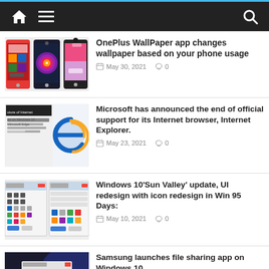Navigation bar with home, menu, and search icons
[Figure (screenshot): Three OnePlus phone screenshots showing wallpaper app]
OnePlus WallPaper app changes wallpaper based on your phone usage
May 30, 2021  0
[Figure (screenshot): Internet Explorer logo and article screenshot about future of Internet Explorer on Windows 10 Microsoft Edge]
Microsoft has announced the end of official support for its Internet browser, Internet Explorer.
May 23, 2021  0
[Figure (screenshot): Two Windows dialog box screenshots showing icon redesign]
Windows 10'Sun Valley' update, UI redesign with icon redesign in Win 95 Days:
May 10, 2021  0
[Figure (screenshot): Samsung file sharing app on Windows 10 with dark background]
Samsung launches file sharing app on Windows 10
May 8, 2021  0